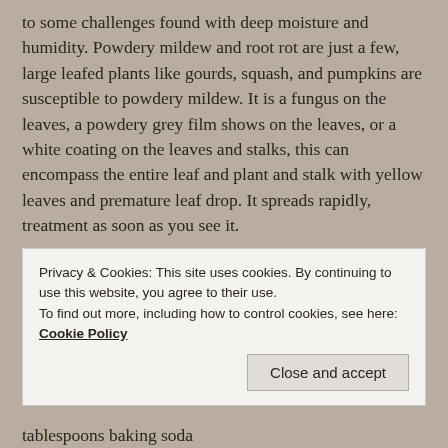to some challenges found with deep moisture and humidity. Powdery mildew and root rot are just a few, large leafed plants like gourds, squash, and pumpkins are susceptible to powdery mildew. It is a fungus on the leaves, a powdery grey film shows on the leaves, or a white coating on the leaves and stalks, this can encompass the entire leaf and plant and stalk with yellow leaves and premature leaf drop. It spreads rapidly, treatment as soon as you see it.
A homemade treatment is:
1 tablespoon baking soda
Privacy & Cookies: This site uses cookies. By continuing to use this website, you agree to their use.
To find out more, including how to control cookies, see here: Cookie Policy
Close and accept
tablespoons baking soda